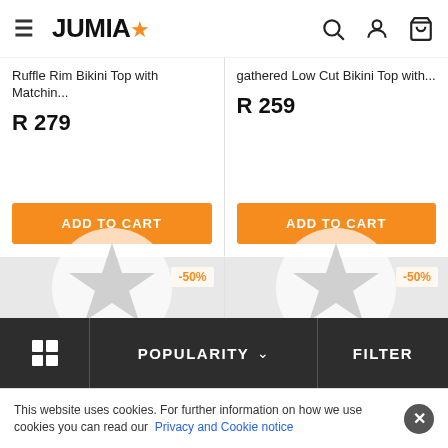JUMIA (logo with star)
Ruffle Rim Bikini Top with Matchin...
R 279
ADD TO CART
gathered Low Cut Bikini Top with...
R 259
ADD TO CART
[Figure (other): Product image placeholder with Jumia star logo watermark, -50% badge]
[Figure (other): Product image placeholder with Jumia star logo watermark, -50% badge]
POPULARITY ∨
FILTER
This website uses cookies. For further information on how we use cookies you can read our Privacy and Cookie notice